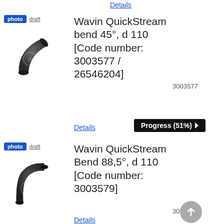Details
[Figure (photo): Dark grey plastic 45-degree pipe bend fitting, Wavin QuickStream, d 110]
Wavin QuickStream bend 45°, d 110 [Code number: 3003577 / 26546204]
3003577
Details
Progress (51%)
[Figure (photo): Dark grey plastic 88.5-degree pipe bend fitting, Wavin QuickStream, d 110]
Wavin QuickStream Bend 88,5°, d 110 [Code number: 3003579]
3003579
Details